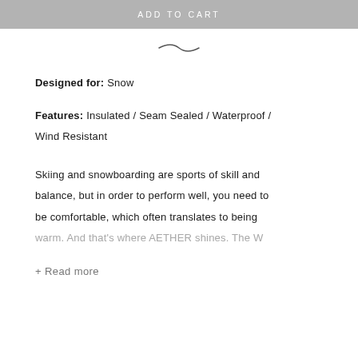ADD TO CART
[Figure (illustration): Tilde/wave decorative divider]
Designed for: Snow
Features: Insulated / Seam Sealed / Waterproof / Wind Resistant
Skiing and snowboarding are sports of skill and balance, but in order to perform well, you need to be comfortable, which often translates to being warm. And that's where AETHER shines. The W
+ Read more